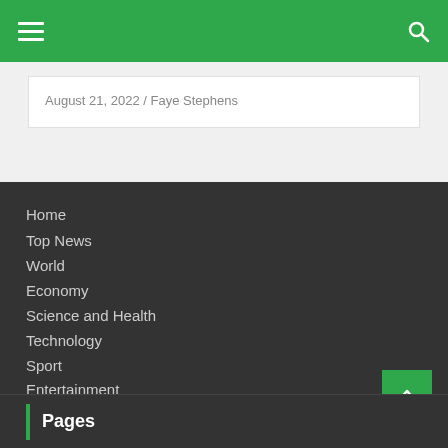Navigation bar with hamburger menu and search icon
August 21, 2022 / Faye Stephens
Home
Top News
World
Economy
Science and Health
Technology
Sport
Entertainment
Contact Form
Pages